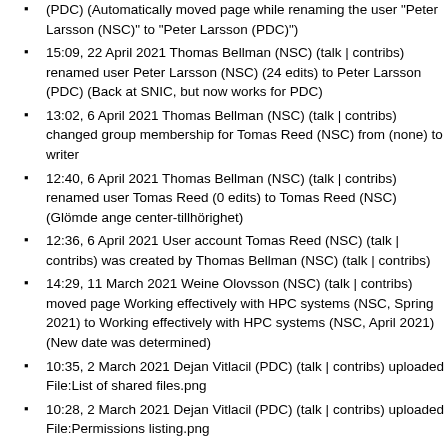(PDC) (Automatically moved page while renaming the user "Peter Larsson (NSC)" to "Peter Larsson (PDC)")
15:09, 22 April 2021 Thomas Bellman (NSC) (talk | contribs) renamed user Peter Larsson (NSC) (24 edits) to Peter Larsson (PDC) (Back at SNIC, but now works for PDC)
13:02, 6 April 2021 Thomas Bellman (NSC) (talk | contribs) changed group membership for Tomas Reed (NSC) from (none) to writer
12:40, 6 April 2021 Thomas Bellman (NSC) (talk | contribs) renamed user Tomas Reed (0 edits) to Tomas Reed (NSC) (Glömde ange center-tillhörighet)
12:36, 6 April 2021 User account Tomas Reed (NSC) (talk | contribs) was created by Thomas Bellman (NSC) (talk | contribs)
14:29, 11 March 2021 Weine Olovsson (NSC) (talk | contribs) moved page Working effectively with HPC systems (NSC, Spring 2021) to Working effectively with HPC systems (NSC, April 2021) (New date was determined)
10:35, 2 March 2021 Dejan Vitlacil (PDC) (talk | contribs) uploaded File:List of shared files.png
10:28, 2 March 2021 Dejan Vitlacil (PDC) (talk | contribs) uploaded File:Permissions listing.png
10:20, 2 March 2021 Dejan Vitlacil (PDC) (talk | contribs) uploaded File:Folder Permissions.png
10:06, 2 March 2021 Dejan Vitlacil (PDC) (talk | contribs) uploaded File:Folder sharing.png